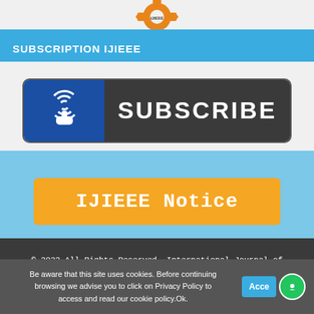[Figure (logo): IJIEEE gear/cog logo in orange at top center]
SUBSCRIPTION IJIEEE
[Figure (infographic): Subscribe button with hand click icon on blue background and SUBSCRIBE text on dark background]
[Figure (infographic): IJIEEE Notice button in orange on light blue background]
© 2022 All Rights Reserved. International Journal of Industrial Electronics and Electrical Engineering (IJIEEE),
Be aware that this site uses cookies. Before continuing browsing we advise you to click on Privacy Policy to access and read our cookie policy.Ok.